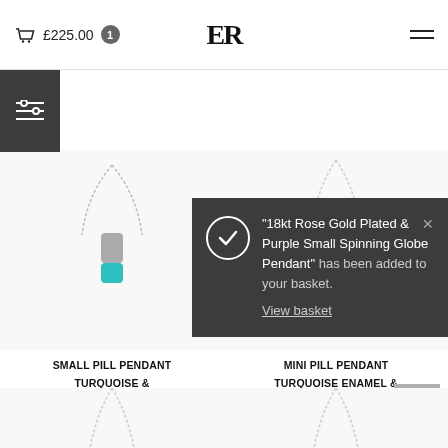£225.00 · ER logo · hamburger menu
[Figure (screenshot): Notification popup: '18kt Rose Gold Plated & Purple Small Spinning Globe Pendant' has been added to your basket. View basket.]
[Figure (photo): Small Pill Pendant Turquoise & Sterling Silver necklace product image]
SMALL PILL PENDANT TURQUOISE & STERLING SILVER
£195.00
[Figure (photo): Mini Pill Pendant Turquoise Enamel & Sterling Silver necklace product image]
MINI PILL PENDANT TURQUOISE ENAMEL & STERLING SILVER
£165.00